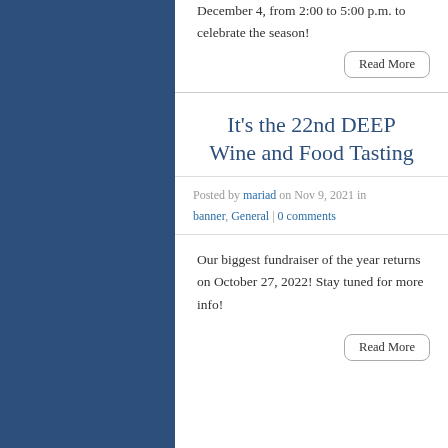December 4, from 2:00 to 5:00 p.m. to celebrate the season!
Read More
It's the 22nd DEEP Wine and Food Tasting
Posted by mariad on Nov 9, 2021 in banner, General | 0 comments
Our biggest fundraiser of the year returns on October 27, 2022! Stay tuned for more info!
Read More